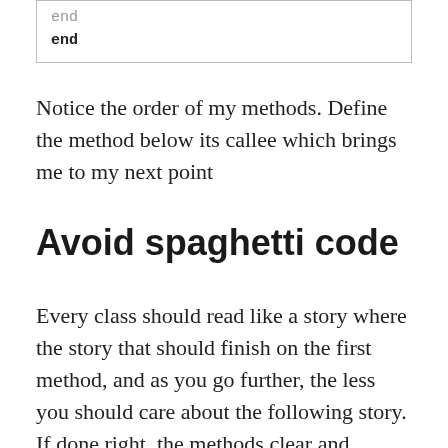[Figure (screenshot): Code block showing 'end' on two lines inside a bordered box]
Notice the order of my methods. Define the method below its callee which brings me to my next point
Avoid spaghetti code
Every class should read like a story where the story that should finish on the first method, and as you go further, the less you should care about the following story. If done right, the methods clear and succinct, ordered with intent to be understood, then the reader would only need to read the first